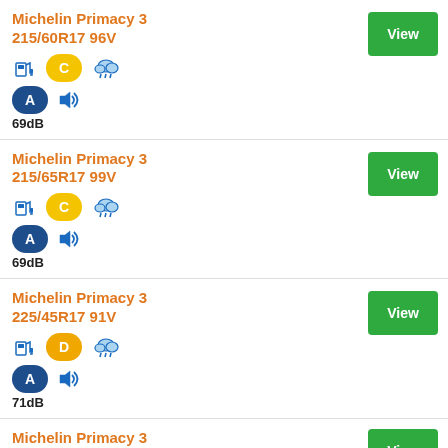Michelin Primacy 3
215/60R17 96V
69dB
Michelin Primacy 3
215/65R17 99V
69dB
Michelin Primacy 3
225/45R17 91V
71dB
Michelin Primacy 3